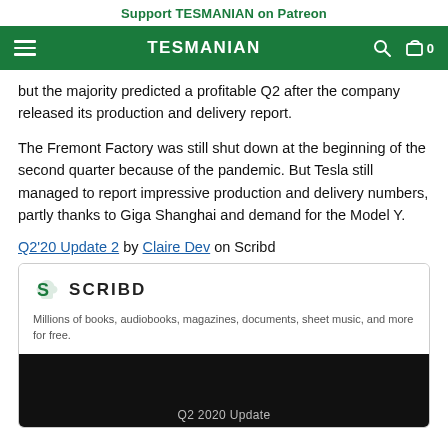Support TESMANIAN on Patreon
TESMANIAN
but the majority predicted a profitable Q2 after the company released its production and delivery report.
The Fremont Factory was still shut down at the beginning of the second quarter because of the pandemic. But Tesla still managed to report impressive production and delivery numbers, partly thanks to Giga Shanghai and demand for the Model Y.
Q2'20 Update 2 by Claire Dev on Scribd
[Figure (screenshot): Scribd embedded card showing the Scribd logo, tagline 'Millions of books, audiobooks, magazines, documents, sheet music, and more for free.' and a dark preview image with text 'Q2 2020 Update']